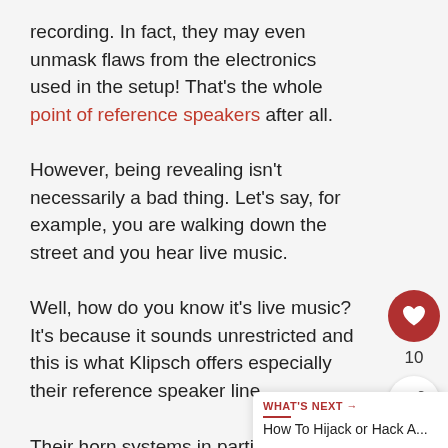recording. In fact, they may even unmask flaws from the electronics used in the setup! That's the whole point of reference speakers after all.
However, being revealing isn't necessarily a bad thing. Let's say, for example, you are walking down the street and you hear live music.
Well, how do you know it's live music? It's because it sounds unrestricted and this is what Klipsch offers especially their reference speaker line.
Their horn systems in particular will reproduce much of the natural dynamics found in music, and do so at high power!